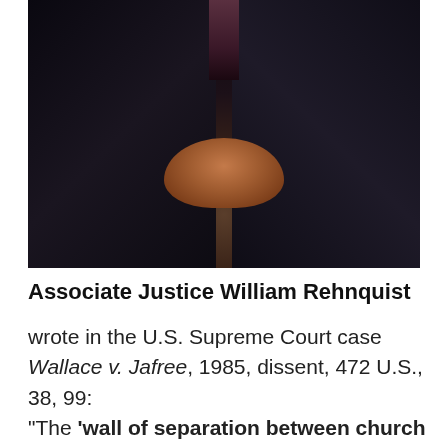[Figure (photo): Black and white/dark photograph of Associate Justice William Rehnquist in judicial robes with hands clasped]
Associate Justice William Rehnquist
wrote in the U.S. Supreme Court case Wallace v. Jafree, 1985, dissent, 472 U.S., 38, 99: "The 'wall of separation between church and state' is a metaphor based on bad